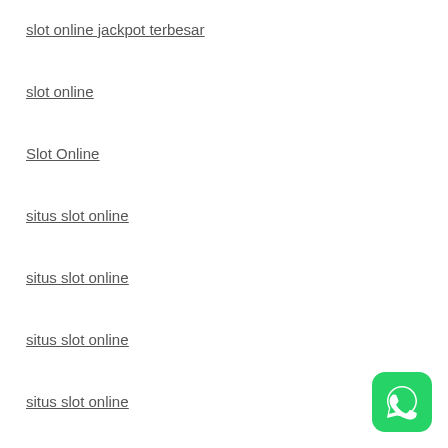slot online jackpot terbesar
slot online
Slot Online
situs slot online
situs slot online
situs slot online
situs slot online
[Figure (logo): WhatsApp icon button — green rounded square with white phone/chat icon]